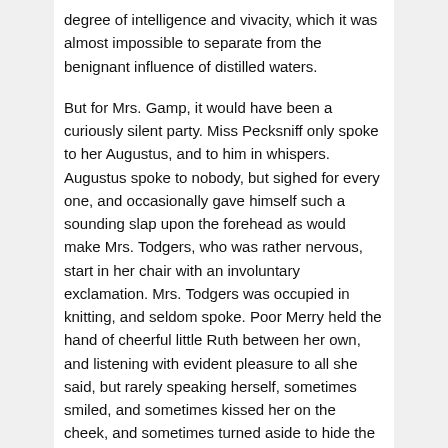degree of intelligence and vivacity, which it was almost impossible to separate from the benignant influence of distilled waters.
But for Mrs. Gamp, it would have been a curiously silent party. Miss Pecksniff only spoke to her Augustus, and to him in whispers. Augustus spoke to nobody, but sighed for every one, and occasionally gave himself such a sounding slap upon the forehead as would make Mrs. Todgers, who was rather nervous, start in her chair with an involuntary exclamation. Mrs. Todgers was occupied in knitting, and seldom spoke. Poor Merry held the hand of cheerful little Ruth between her own, and listening with evident pleasure to all she said, but rarely speaking herself, sometimes smiled, and sometimes kissed her on the cheek, and sometimes turned aside to hide the tears that trembled in her eyes. Tom felt this change in her so much, and was so glad to see how tenderly Ruth dealt with her, and how she knew and answered to it, that he had not the heart to make any movement towards their departure, although he had long since given utterance to all he came